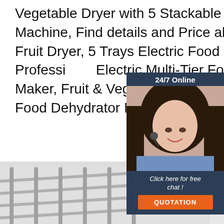Vegetable Dryer with 5 Stackable Trays Food Dehydrator Machine, Find details and Price about China Mini Home Fruit Dryer, 5 Trays Electric Food Dehydrator from Professional Electric Multi-Tier Food Preserver, Meat Jerky Maker, Fruit & Vegetable Dryer with 5 Stackable Trays Food Dehydrator Mac
[Figure (photo): Customer service representative chat widget with 24/7 Online label, a woman with headset photo, 'Click here for free chat!' text and QUOTATION orange button]
[Figure (photo): Get Price orange button]
[Figure (photo): Bottom section showing food dehydrator tray product image with a TOP logo/badge in orange on grey background]